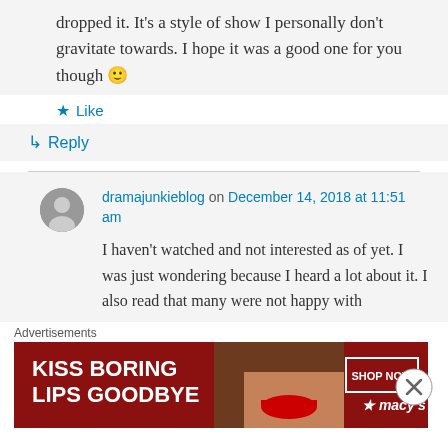dropped it. It's a style of show I personally don't gravitate towards. I hope it was a good one for you though 🙂
★ Like
↳ Reply
dramajunkieblog on December 14, 2018 at 11:51 am
I haven't watched and not interested as of yet. I was just wondering because I heard a lot about it. I also read that many were not happy with
Advertisements
[Figure (illustration): Macy's advertisement banner: red background with woman's face, text 'KISS BORING LIPS GOODBYE', 'SHOP NOW' button, and Macy's star logo]